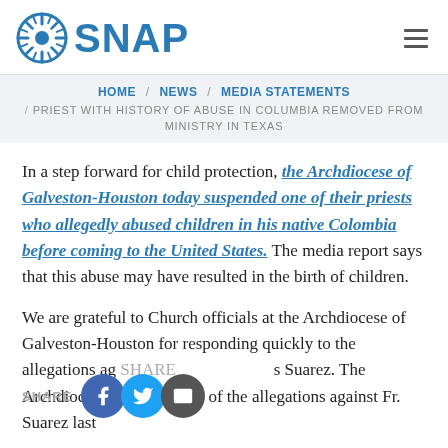[Figure (logo): SNAP organization logo with blue sunburst icon and blue SNAP text]
HOME / NEWS / MEDIA STATEMENTS / PRIEST WITH HISTORY OF ABUSE IN COLUMBIA REMOVED FROM MINISTRY IN TEXAS
In a step forward for child protection, the Archdiocese of Galveston-Houston today suspended one of their priests who allegedly abused children in his native Colombia before coming to the United States. The media report says that this abuse may have resulted in the birth of children.
We are grateful to Church officials at the Archdiocese of Galveston-Houston for responding quickly to the allegations ag[ainst] Fr. Suarez. The Archdiocese was informed of the allegations against Fr. Suarez last